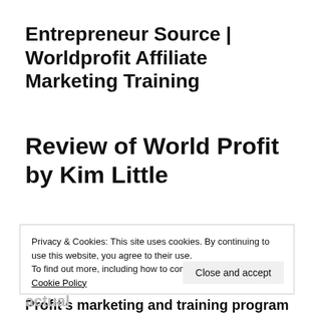Entrepreneur Source | Worldprofit Affiliate Marketing Training
Review of World Profit by Kim Little
Privacy & Cookies: This site uses cookies. By continuing to use this website, you agree to their use.
To find out more, including how to control cookies, see here:
Cookie Policy
Close and accept
Profit's marketing and training program